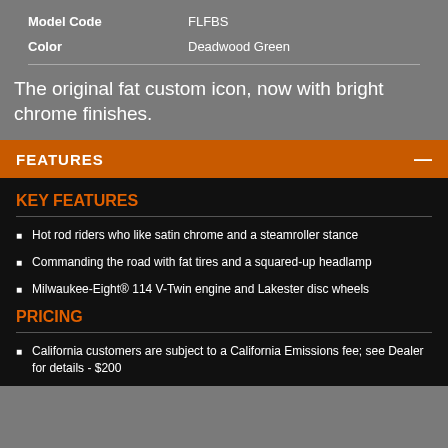| Field | Value |
| --- | --- |
| Model Code | FLFBS |
| Color | Deadwood Green |
The original fat custom icon, now with bright chrome finishes.
FEATURES
KEY FEATURES
Hot rod riders who like satin chrome and a steamroller stance
Commanding the road with fat tires and a squared-up headlamp
Milwaukee-Eight® 114 V-Twin engine and Lakester disc wheels
PRICING
California customers are subject to a California Emissions fee; see Dealer for details - $200